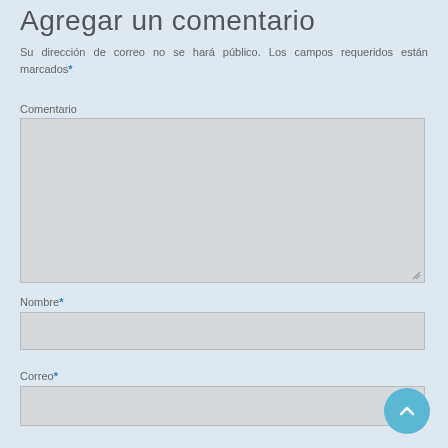Agregar un comentario
Su dirección de correo no se hará público. Los campos requeridos están marcados*
Comentario
[Figure (other): Large comment textarea input box with resize handle]
Nombre*
[Figure (other): Single-line text input for Nombre]
Correo*
[Figure (other): Single-line text input for Correo]
[Figure (other): Scroll-to-top circular button with upward chevron]